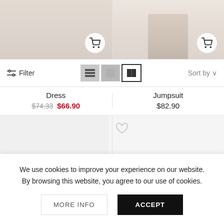[Figure (screenshot): E-commerce product listing page showing two items: a Dress and a Jumpsuit, with filter/sort controls, view options, product images, and a cookie consent banner.]
Dress
$74.33 $66.90
Jumpsuit
$82.90
We use cookies to improve your experience on our website. By browsing this website, you agree to our use of cookies.
MORE INFO
ACCEPT